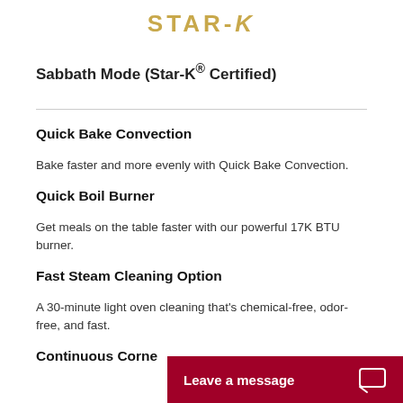[Figure (logo): Star-K logo text in gold/yellow at top of page]
Sabbath Mode (Star-K® Certified)
Quick Bake Convection
Bake faster and more evenly with Quick Bake Convection.
Quick Boil Burner
Get meals on the table faster with our powerful 17K BTU burner.
Fast Steam Cleaning Option
A 30-minute light oven cleaning that's chemical-free, odor-free, and fast.
Continuous Corne…